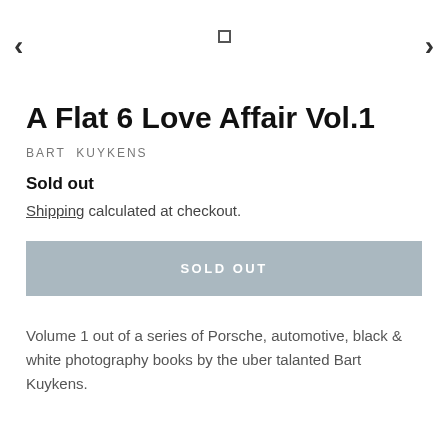[Figure (other): Navigation arrows (left and right chevrons) and a small square dot indicator for an image carousel]
A Flat 6 Love Affair Vol.1
BART KUYKENS
Sold out
Shipping calculated at checkout.
SOLD OUT
Volume 1 out of a series of Porsche, automotive, black & white photography books by the uber talanted Bart Kuykens.